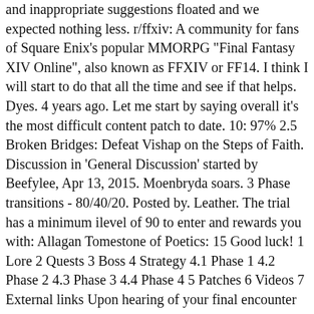and inappropriate suggestions floated and we expected nothing less. r/ffxiv: A community for fans of Square Enix's popular MMORPG "Final Fantasy XIV Online", also known as FFXIV or FF14. I think I will start to do that all the time and see if that helps. Dyes. 4 years ago. Let me start by saying overall it's the most difficult content patch to date. 10: 97% 2.5 Broken Bridges: Defeat Vishap on the Steps of Faith. Discussion in 'General Discussion' started by Beefylee, Apr 13, 2015. Moenbryda soars. 3 Phase transitions - 80/40/20. Posted by. Leather. The trial has a minimum ilevel of 90 to enter and rewards you with: Allagan Tomestone of Poetics: 15 Good luck! 1 Lore 2 Quests 3 Boss 4 Strategy 4.1 Phase 1 4.2 Phase 2 4.3 Phase 3 4.4 Phase 4 5 Patches 6 Videos 7 External links Upon hearing of your final encounter with Yotsuyu—and the primal to whom she surrendered her will—the wandering minstrel composes a tanka tinged with sorrow. Snowcloak; Akh Afha Amphitheatre (Hard) Before the Fall. level 52. Defeat Nabriales in the Chrysalis. Bloods